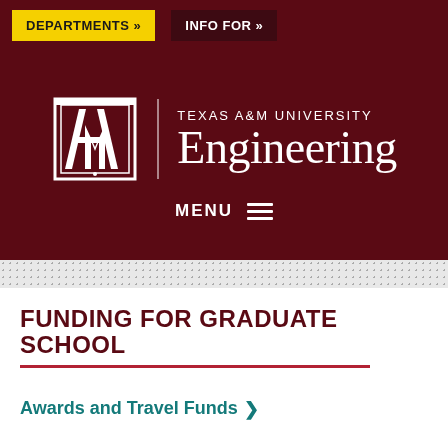DEPARTMENTS » | INFO FOR »
[Figure (logo): Texas A&M University Engineering logo with ATM monogram and wordmark on maroon background, with MENU navigation bar]
FUNDING FOR GRADUATE SCHOOL
Awards and Travel Funds >